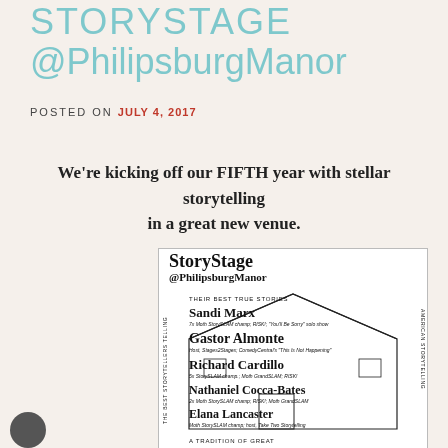STORYSTAGE @PhilipsburgManor
POSTED ON JULY 4, 2017
We're kicking off our FIFTH year with stellar storytelling in a great new venue.
[Figure (illustration): Flyer for StoryStage at PhilipsburgManor featuring performer names: Sandi Marx, Gastor Almonte, Richard Cardillo, Nathaniel Cocca-Bates, Elana Lancaster, with taglines 'Their Best True Stories' and 'A Tradition of Great American Storytelling']